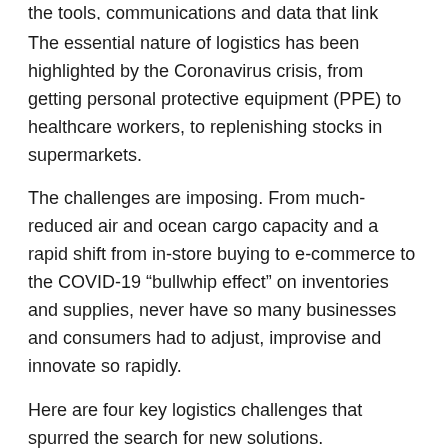the tools, communications and data that link them.
The essential nature of logistics has been highlighted by the Coronavirus crisis, from getting personal protective equipment (PPE) to healthcare workers, to replenishing stocks in supermarkets.
The challenges are imposing. From much-reduced air and ocean cargo capacity and a rapid shift from in-store buying to e-commerce to the COVID-19 “bullwhip effect” on inventories and supplies, never have so many businesses and consumers had to adjust, improvise and innovate so rapidly.
Here are four key logistics challenges that spurred the search for new solutions.
1. Capacity
Capacity evaporated. In normal times, ocean freight is typically around 90% of global trade volume. But the pandemic initially curtailed the supply of manufactured